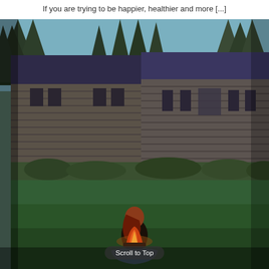If you are trying to be happier, healthier and more [...]
[Figure (photo): Outdoor scene showing a dark log cabin or timber-framed house with tall evergreen trees behind it, a green lawn in the foreground, and a person sitting by a campfire in the lower center of the image.]
Scroll to Top